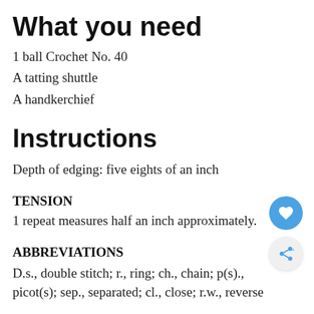What you need
1 ball Crochet No. 40
A tatting shuttle
A handkerchief
Instructions
Depth of edging: five eights of an inch
TENSION
1 repeat measures half an inch approximately.
ABBREVIATIONS
D.s., double stitch; r., ring; ch., chain; p(s)., picot(s); sep., separated; cl., close; r.w., reverse